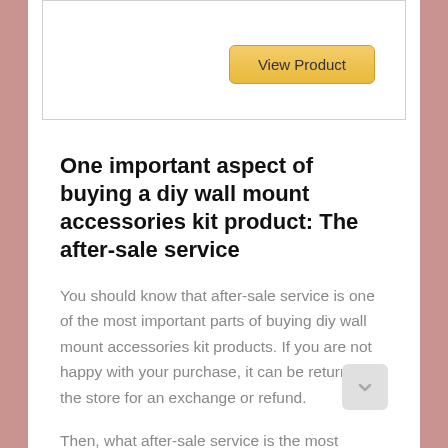[Figure (other): View Product button — a gold/yellow rounded rectangle button with text 'View Product']
One important aspect of buying a diy wall mount accessories kit product: The after-sale service
You should know that after-sale service is one of the most important parts of buying diy wall mount accessories kit products. If you are not happy with your purchase, it can be returned to the store for an exchange or refund.
Then, what after-sale service is the most important for buying diy wall mount